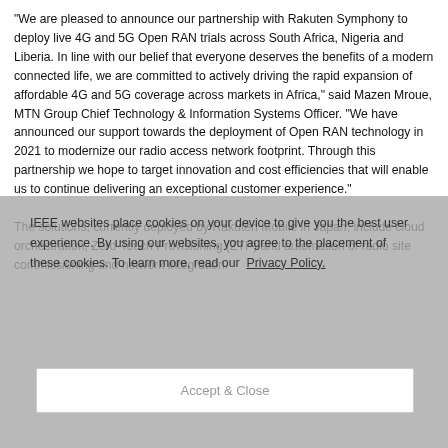“We are pleased to announce our partnership with Rakuten Symphony to deploy live 4G and 5G Open RAN trials across South Africa, Nigeria and Liberia. In line with our belief that everyone deserves the benefits of a modern connected life, we are committed to actively driving the rapid expansion of affordable 4G and 5G coverage across markets in Africa,” said Mazen Mroue, MTN Group Chief Technology & Information Systems Officer. “We have announced our support towards the deployment of Open RAN technology in 2021 to modernize our radio access network footprint. Through this partnership we hope to target innovation and cost efficiencies that will enable us to continue delivering an exceptional customer experience.” The solutions, currently deployed by Rakuten Mobile in Japan, include cloud orchestration, Zero-Touch Provisioning (ZTP) and automation of radio site commissioning and network integration.
IEEE websites place cookies on your device to give you the best user experience. By using our websites, you agree to the placement of these cookies. To learn more, read our Privacy Policy.
Accept & Close